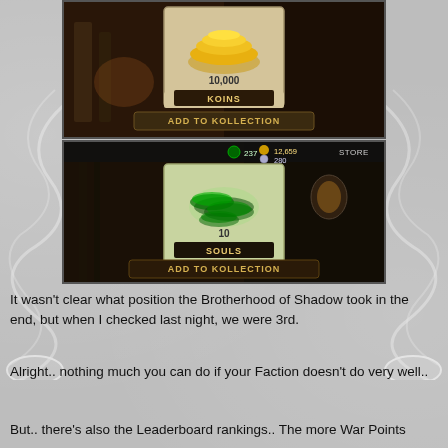[Figure (screenshot): Mobile game screenshot showing 10,000 KOINS reward with 'ADD TO KOLLECTION' button on a dark fantasy background]
[Figure (screenshot): Mobile game screenshot showing 10 SOULS reward with 'ADD TO KOLLECTION' button on a dark fantasy background, with HUD showing 237 green gems, 12,659 coins, 280 souls, and STORE button]
It wasn't clear what position the Brotherhood of Shadow took in the end, but when I checked last night, we were 3rd.
Alright.. nothing much you can do if your Faction doesn't do very well..
But.. there's also the Leaderboard rankings.. The more War Points